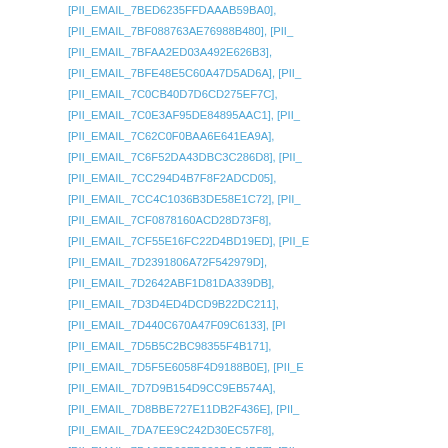[PII_EMAIL_7BED6235FFDAAAB59BA0], [PII_EMAIL_7BF088763AE76988B480], [PII_...], [PII_EMAIL_7BFAA2ED03A492E626B3], [PII_EMAIL_7BFE48E5C60A47D5AD6A], [PII_...], [PII_EMAIL_7C0CB40D7D6CD275EF7C], [PII_EMAIL_7C0E3AF95DE84895AAC1], [PII_...], [PII_EMAIL_7C62C0F0BAA6E641EA9A], [PII_EMAIL_7C6F52DA43DBC3C286D8], [PII_...], [PII_EMAIL_7CC294D4B7F8F2ADCD05], [PII_EMAIL_7CC4C1036B3DE58E1C72], [PII_...], [PII_EMAIL_7CF0878160ACD28D73F8], [PII_EMAIL_7CF55E16FC22D4BD19ED], [PII_...], [PII_EMAIL_7D2391806A72F542979D], [PII_EMAIL_7D2642ABF1D81DA339DB], [PII_EMAIL_7D3D4ED4DCD9B22DC211], [PII_EMAIL_7D440C670A47F09C6133], [PII_...], [PII_EMAIL_7D5B5C2BC98355F4B171], [PII_EMAIL_7D5F5E6058F4D9188B0E], [PII_...], [PII_EMAIL_7D7D9B154D9CC9EB574A], [PII_EMAIL_7D8BBE727E11DB2F436E], [PII_...], [PII_EMAIL_7DA7EE9C242D30EC57F8], [PII_EMAIL_7DA8ED02FB239BAD4B57], [PII_...], [PII_EMAIL_7DBAC3EB00B73388E2AE], [PII_EMAIL_7DD3937D5A1678D545A7], [PII_...], [PII_EMAIL_7DE6F41D107417753F7D], [PII_EMAIL_7DE71320E770ED69463A], [PII_...], [PII_EMAIL_7DEBA830EF01941E2D16], [PII_EMAIL_7E166D193FDE390D0BB1], [PII_...], [PII_EMAIL_7E2660F7E18DD6CDD668], [PII_EMAIL_7E335DA7BF95EF5CF0B7], [PII_...], [PII_EMAIL_7E5AC6D9FD77893BF1B6], [PII_EMAIL_7E69CA7B9103CCBF20F5], [PII_...], [PII_EMAIL_7E89FDE8FB7AE12A87BA], [PII_EMAIL_7E9E63070A574B7F0D36], [PII_...], [PII_EMAIL_7EB02F1B0C1BFE07F71D], [PII_EMAIL_7EB47811D82C300386C9], [PII_...], [PII_EMAIL_7EC6B55045626F9D55A8], [PII_EMAIL_7EC75A008741E6245DDE], [PII_...], [PII_EMAIL_7EF2826E6F7DFF8830A6], [PII_EMAIL_7EFA78775A4A13740151], [PII_EM...